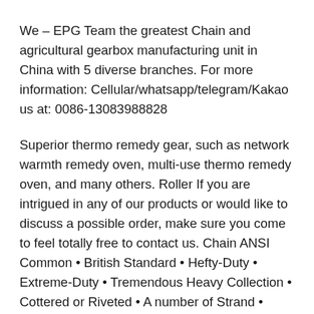We – EPG Team the greatest Chain and agricultural gearbox manufacturing unit in China with 5 diverse branches. For more information: Cellular/whatsapp/telegram/Kakao us at: 0086-13083988828
Superior thermo remedy gear, such as network warmth remedy oven, multi-use thermo remedy oven, and many others. Roller If you are intrigued in any of our products or would like to discuss a possible order, make sure you come to feel totally free to contact us. Chain ANSI Common • British Standard • Hefty-Duty • Extreme-Duty • Tremendous Heavy Collection • Cottered or Riveted • A number of Strand • Stainless Metal • Nickel Plated • Dacroclad™ • Extended Pitch (Like Huge Roller) • 81X, 81XH, 81XHH • Hollow Pin • Agricultural (CA550, CA620, etc.) • Citrus Chain Competence for industrial chains and sprockets It is